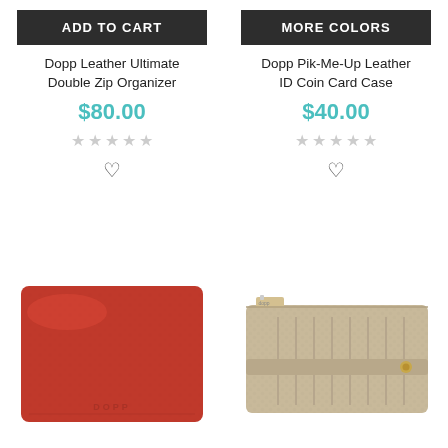ADD TO CART
MORE COLORS
Dopp Leather Ultimate Double Zip Organizer
Dopp Pik-Me-Up Leather ID Coin Card Case
$80.00
$40.00
[Figure (photo): Red pebbled leather wallet/organizer from Dopp brand]
[Figure (photo): Tan/beige pebbled leather card case with zipper and strap from Dopp brand]